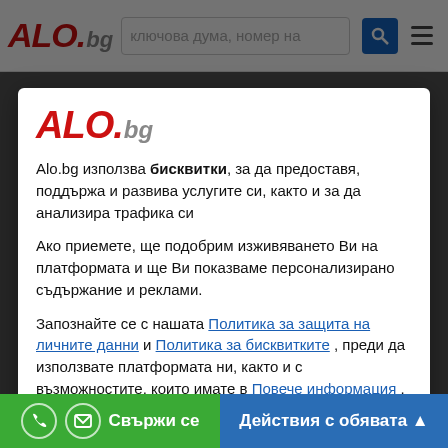[Figure (screenshot): ALO.bg website header with logo, search bar, search button, and hamburger menu]
[Figure (screenshot): Modal cookie consent dialog with ALO.bg logo]
Alo.bg използва бисквитки, за да предоставя, поддържа и развива услугите си, както и за да анализира трафика си
Ако приемете, ще подобрим изживяването Ви на платформата и ще Ви показваме персонализирано съдържание и реклами.
Запознайте се с нашата Политика за защита на личните данни и Политика за бисквитките , преди да използвате платформата ни, както и с възможностите, които имате в Повече информация .
Приемам
Свържи се
Действия с обявата ▲